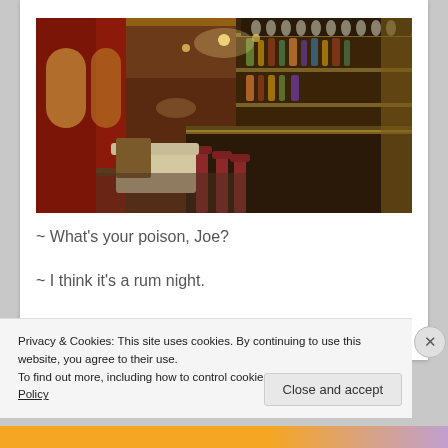[Figure (photo): Interior of an upscale bar/restaurant with ornate decor, red walls, golden lighting, bar shelves with bottles and glasses, and seating areas.]
~ What's your poison, Joe?
~ I think it's a rum night.
~ ...
Privacy & Cookies: This site uses cookies. By continuing to use this website, you agree to their use.
To find out more, including how to control cookies, see here: Cookie Policy
Close and accept